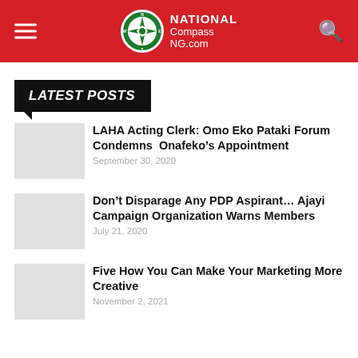National Compass NG.com
LATEST POSTS
LAHA Acting Clerk: Omo Eko Pataki Forum Condemns  Onafeko’s Appointment
September 30, 2020
Don’t Disparage Any PDP Aspirant… Ajayi Campaign Organization Warns Members
July 21, 2020
Five How You Can Make Your Marketing More Creative
November 2, 2021